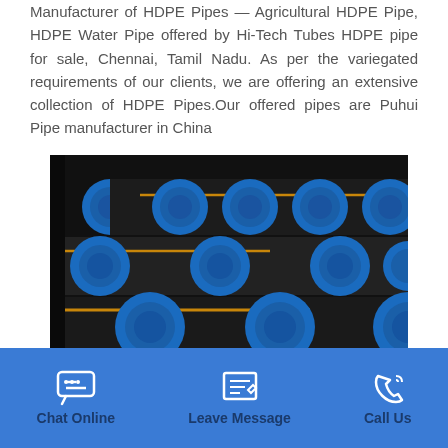Manufacturer of HDPE Pipes — Agricultural HDPE Pipe, HDPE Water Pipe offered by Hi-Tech Tubes HDPE pipe for sale, Chennai, Tamil Nadu. As per the variegated requirements of our clients, we are offering an extensive collection of HDPE Pipes.Our offered pipes are Puhui Pipe manufacturer in China
[Figure (photo): Stack of black HDPE pipes with blue inner openings and yellow striping, photographed from the end/side view showing multiple pipe cross-sections]
Chat Online   Leave Message   Call Us